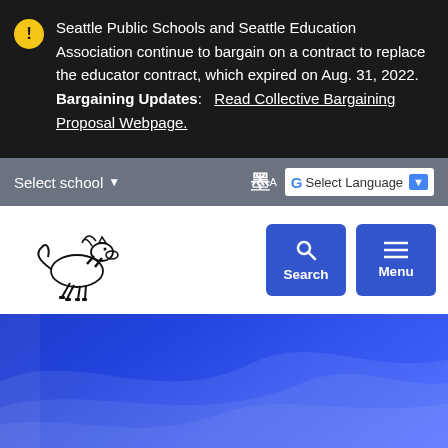Seattle Public Schools and Seattle Education Association continue to bargain on a contract to replace the educator contract, which expired on Aug. 31, 2022. Bargaining Updates:   Read Collective Bargaining Proposal Webpage.
Select school ▾
Select Language ▾
[Figure (logo): Mustangs school logo — rearing horse illustration above the text MUSTANGS]
Search
Menu
[Figure (illustration): Blue decorative wave background section at the bottom of the page]